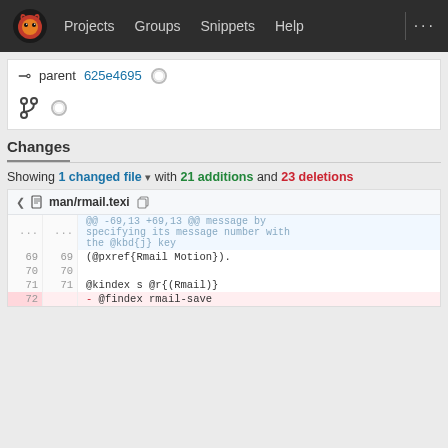Projects  Groups  Snippets  Help  ...
parent 625e4695 ○
⑂ ○
Changes
Showing 1 changed file ▾ with 21 additions and 23 deletions
man/rmail.texi
| old | new | code |
| --- | --- | --- |
| ... | ... | @@ -69,13 +69,13 @@ message by specifying its message number with the @kbd{j} key |
| 69 | 69 | (@pxref{Rmail Motion}). |
| 70 | 70 |  |
| 71 | 71 | @kindex s @r{(Rmail)} |
| 72 |  | - @findex rmail-save |